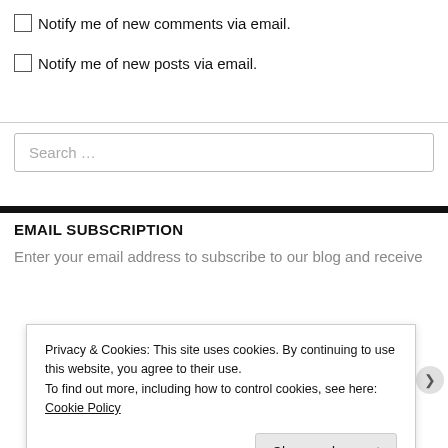Notify me of new comments via email.
Notify me of new posts via email.
Search ...
EMAIL SUBSCRIPTION
Enter your email address to subscribe to our blog and receive
Privacy & Cookies: This site uses cookies. By continuing to use this website, you agree to their use.
To find out more, including how to control cookies, see here: Cookie Policy
Close and accept